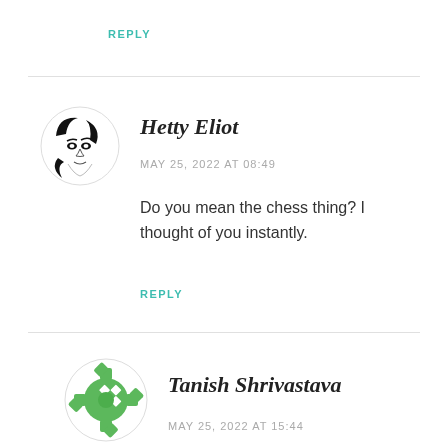REPLY
[Figure (illustration): Avatar of Hetty Eliot: stylized black and white illustration of a face with flowing hair, circular crop]
Hetty Eliot
MAY 25, 2022 AT 08:49
Do you mean the chess thing? I thought of you instantly.
REPLY
[Figure (illustration): Avatar of Tanish Shrivastava: green gear/cog icon with diamond shapes, circular]
Tanish Shrivastava
MAY 25, 2022 AT 15:44